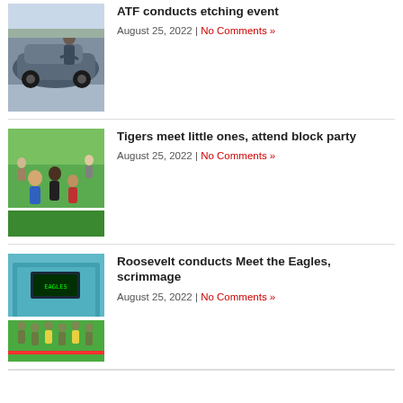[Figure (photo): Photo of a person near a dark blue car, outdoors, ATF etching event]
ATF conducts etching event
August 25, 2022 | No Comments »
[Figure (photo): Photo of children/youth on a green sports field, Tigers meet little ones block party]
Tigers meet little ones, attend block party
August 25, 2022 | No Comments »
[Figure (photo): Photo of football players in uniform on a field with teal building in background, Roosevelt Meet the Eagles scrimmage]
Roosevelt conducts Meet the Eagles, scrimmage
August 25, 2022 | No Comments »